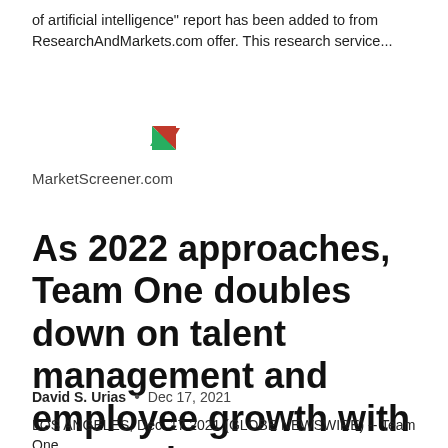of artificial intelligence" report has been added to from ResearchAndMarkets.com offer. This research service...
[Figure (logo): MarketScreener.com logo with red and green arrow triangles]
As 2022 approaches, Team One doubles down on talent management and employee growth with two senior...
David S. Urias  •  Dec 17, 2021
LOS ANGELES, Dec. 17 2021 (GLOBE NEWSWIRE) -- Team One,